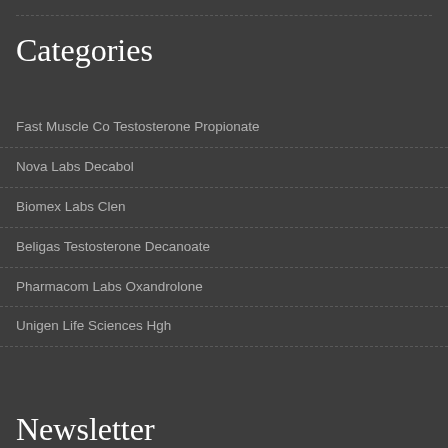Categories
Fast Muscle Co Testosterone Propionate
Nova Labs Decabol
Biomex Labs Clen
Beligas Testosterone Decanoate
Pharmacom Labs Oxandrolone
Unigen Life Sciences Hgh
Newsletter